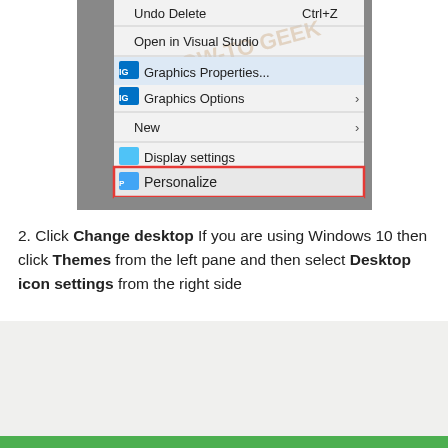[Figure (screenshot): Windows context menu showing options: Undo Delete (Ctrl+Z), Open in Visual Studio, Graphics Properties..., Graphics Options (with submenu arrow), New (with submenu arrow), Display settings, and Personalize (highlighted with red border). The menu has a watermark logo in background.]
2. Click Change desktop If you are using Windows 10 then click Themes from the left pane and then select Desktop icon settings from the right side
[Figure (screenshot): Partial screenshot of a Windows settings or personalization window, showing a light gray background area.]